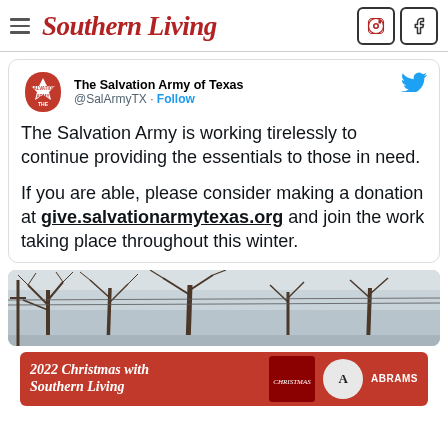Southern Living
[Figure (screenshot): Tweet from The Salvation Army of Texas (@SalArmyTX) with tweet text about working tirelessly to continue providing essentials. Includes account logo with Salvation Army shield, Twitter bird icon, and follow button.]
The Salvation Army is working tirelessly to continue providing the essentials to those in need.
If you are able, please consider making a donation at give.salvationarmytexas.org and join the work taking place throughout this winter.
[Figure (photo): Winter scene with bare trees and overcast sky, partially visible.]
[Figure (infographic): Advertisement banner: 2022 Christmas with Southern Living, Abrams publisher logo.]